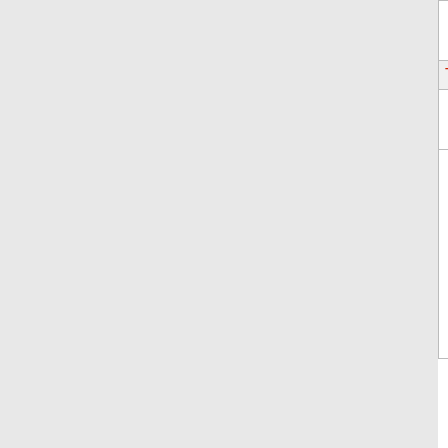| Number | State | Company Name | Code | Extra |
| --- | --- | --- | --- | --- |
| 774-634-2 | MA | FREEDOM RING COMMUNICATIONS, L | 8468 |  |
| Thousands block for 774-801 |  |  |  |  |
| 774-801-1 | MA | FREEDOM RING COMMUNICATIONS, L | 8468 |  |